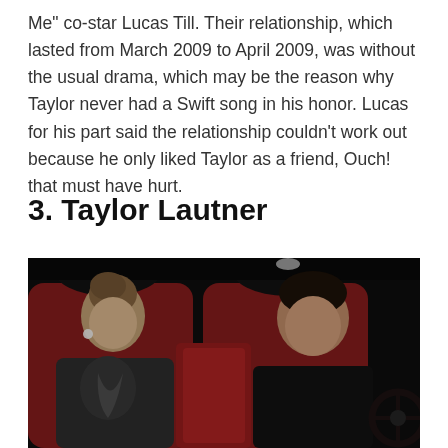Me" co-star Lucas Till. Their relationship, which lasted from March 2009 to April 2009, was without the usual drama, which may be the reason why Taylor never had a Swift song in his honor. Lucas for his part said the relationship couldn't work out because he only liked Taylor as a friend, Ouch! that must have hurt.
3. Taylor Lautner
[Figure (photo): Photo of two people (Taylor Swift and Taylor Lautner) sitting in the back seat of a car with red leather interior. Taylor Swift is on the left wearing a dark patterned top with embellishments, looking down. Taylor Lautner is on the right wearing a black t-shirt, looking forward. The interior of the car shows red seats and dark headrests.]